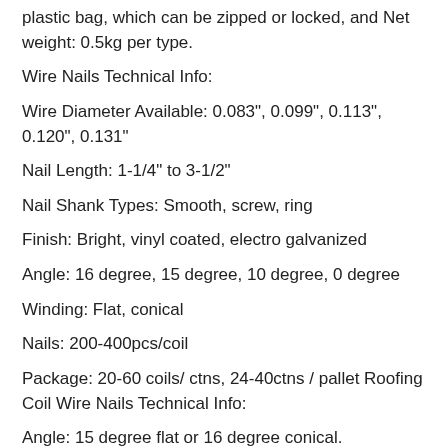plastic bag, which can be zipped or locked, and Net weight: 0.5kg per type.
Wire Nails Technical Info:
Wire Diameter Available: 0.083", 0.099", 0.113", 0.120", 0.131"
Nail Length: 1-1/4" to 3-1/2"
Nail Shank Types: Smooth, screw, ring
Finish: Bright, vinyl coated, electro galvanized
Angle: 16 degree, 15 degree, 10 degree, 0 degree
Winding: Flat, conical
Nails: 200-400pcs/coil
Package: 20-60 coils/ ctns, 24-40ctns / pallet Roofing Coil Wire Nails Technical Info:
Angle: 15 degree flat or 16 degree conical.